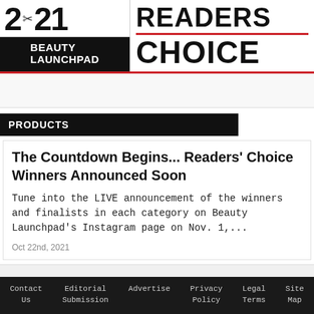[Figure (logo): 2021 Beauty Launchpad Readers Choice award banner logo with scissors icon, red divider line, black and white design]
PRODUCTS
The Countdown Begins... Readers' Choice Winners Announced Soon
Tune into the LIVE announcement of the winners and finalists in each category on Beauty Launchpad's Instagram page on Nov. 1,...
Oct 22nd, 2021
Contact Us  Editorial Submission  Advertise  Privacy Policy  Legal Terms  Site Map